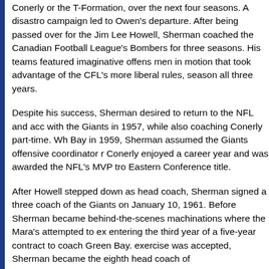Conerly or the T-Formation, over the next four seasons. A disastro campaign led to Owen's departure. After being passed over for the Jim Lee Howell, Sherman coached the Canadian Football League's Bombers for three seasons. His teams featured imaginative offens men in motion that took advantage of the CFL's more liberal rules, season all three years.
Despite his success, Sherman desired to return to the NFL and acc with the Giants in 1957, while also coaching Conerly part-time. Wh Bay in 1959, Sherman assumed the Giants offensive coordinator r Conerly enjoyed a career year and was awarded the NFL's MVP tro Eastern Conference title.
After Howell stepped down as head coach, Sherman signed a three coach of the Giants on January 10, 1961. Before Sherman became behind-the-scenes machinations where the Mara's attempted to ex entering the third year of a five-year contract to coach Green Bay. exercise was accepted, Sherman became the eighth head coach of
The roster Sherman inherited had plenty of championship experience. Many of the Giants starters, including the core of